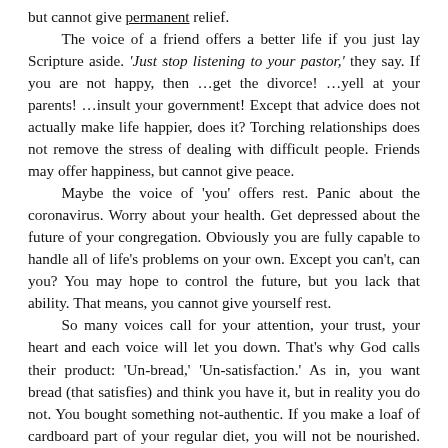but cannot give permanent relief. The voice of a friend offers a better life if you just lay Scripture aside. 'Just stop listening to your pastor,' they say. If you are not happy, then …get the divorce! …yell at your parents! …insult your government! Except that advice does not actually make life happier, does it? Torching relationships does not remove the stress of dealing with difficult people. Friends may offer happiness, but cannot give peace. Maybe the voice of 'you' offers rest. Panic about the coronavirus. Worry about your health. Get depressed about the future of your congregation. Obviously you are fully capable to handle all of life's problems on your own. Except you can't, can you? You may hope to control the future, but you lack that ability. That means, you cannot give yourself rest. So many voices call for your attention, your trust, your heart and each voice will let you down. That's why God calls their product: 'Un-bread,' 'Un-satisfaction.' As in, you want bread (that satisfies) and think you have it, but in reality you do not. You bought something not-authentic. If you make a loaf of cardboard part of your regular diet, you will not be nourished. You will stuff yourself with junk. You will starve. You will die! If you feast on words that do not line up with God's Word, you will die...